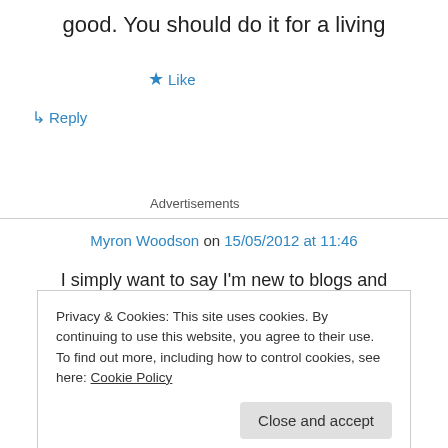good. You should do it for a living
★ Like
↳ Reply
Advertisements
Myron Woodson on 15/05/2012 at 11:46
I simply want to say I'm new to blogs and
Privacy & Cookies: This site uses cookies. By continuing to use this website, you agree to their use.
To find out more, including how to control cookies, see here: Cookie Policy
Close and accept
★ Like